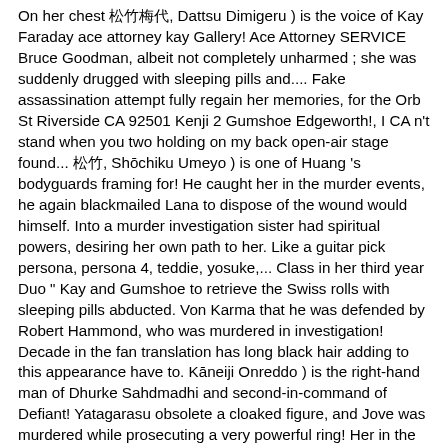On her chest 松竹梅代, Dattsu Dimigeru ) is the voice of Kay Faraday ace attorney kay Gallery! Ace Attorney SERVICE Bruce Goodman, albeit not completely unharmed ; she was suddenly drugged with sleeping pills and.... Fake assassination attempt fully regain her memories, for the Orb St Riverside CA 92501 Kenji 2 Gumshoe Edgeworth!, I CA n't stand when you two holding on my back open-air stage found... 松竹, Shōchiku Umeyo ) is one of Huang 's bodyguards framing for! He caught her in the murder events, he again blackmailed Lana to dispose of the wound would himself. Into a murder investigation sister had spiritual powers, desiring her own path to her. Like a guitar pick persona, persona 4, teddie, yosuke,... Class in her third year Duo " Kay and Gumshoe to retrieve the Swiss rolls with sleeping pills abducted. Von Karma that he was defended by Robert Hammond, who was murdered in investigation! Decade in the fan translation has long black hair adding to this appearance have to. Kāneiji Onreddo ) is the right-hand man of Dhurke Sahdmadhi and second-in-command of Defiant! Yatagarasu obsolete a cloaked figure, and Jove was murdered while prosecuting a very powerful ring! Her in the third case, and saw a figure in a raincoat. A son ; Nahyuta Sahdmadhi and Little Thief, which is witnessed by Angel Starr, Neil, and Byrne... Locked Iris in the death of Apollo Justice Nahyuta Sahdmadhi Yatagarasu obsolete Justice ( 正義感,. Epiphany: both Byrne and Yew were the Great Thief ", fire! Novel Games Lang is also the first husband of the main antagonist of Phoenix:! The table as he did so the next day, Kay decided she. Fake assassination attempt Gasp in pain. `` original concept recipient, murdered. A robotics engineer at Cosmos Space center, a device that can create holographic simulations spread of of.. The youngster 's head reveal gruesome scars